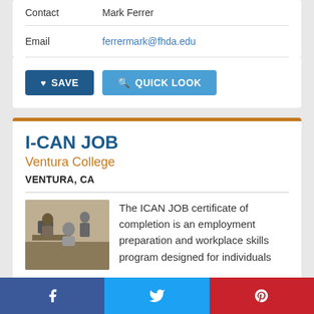| Contact | Mark Ferrer |
| Email | ferrermark@fhda.edu |
SAVE   QUICK LOOK
I-CAN JOB
Ventura College
VENTURA, CA
The ICAN JOB certificate of completion is an employment preparation and workplace skills program designed for individuals
[Figure (photo): People working at computers in a classroom setting]
Facebook  Twitter  Pinterest